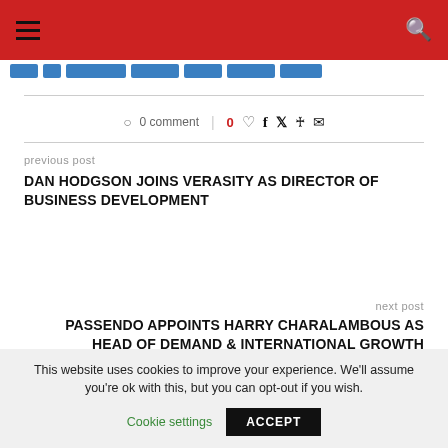Navigation header bar with hamburger menu and search icon
0 comment  |  0 ♡ f 𝕏 ⊕ ✉
previous post
DAN HODGSON JOINS VERASITY AS DIRECTOR OF BUSINESS DEVELOPMENT
next post
PASSENDO APPOINTS HARRY CHARALAMBOUS AS HEAD OF DEMAND & INTERNATIONAL GROWTH
This website uses cookies to improve your experience. We'll assume you're ok with this, but you can opt-out if you wish.
Cookie settings  ACCEPT